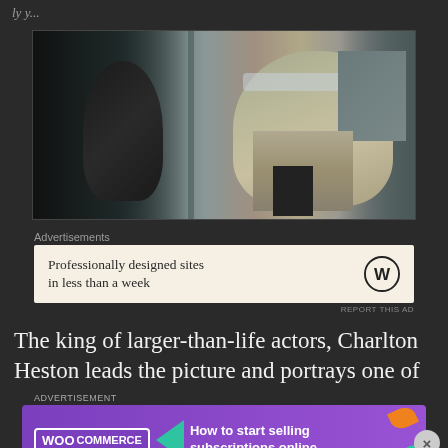[Figure (photo): Movie still showing two people in conversation — a figure on the left seen from behind with dark hair, and a man on the right wearing aviator glasses and a beige uniform shirt with a dark tie, in what appears to be an office setting with posters on the wall.]
Advertisements
[Figure (other): WordPress advertisement banner with cream/beige background. Text: 'Professionally designed sites in less than a week'. WordPress logo (circle W) on the right.]
REPORT THIS AD
The king of larger-than-life actors, Charlton Heston leads the picture and portrays one of
ADVERTISEMENT
[Figure (other): WooCommerce advertisement banner with purple background. WooCommerce logo on the left, green arrow shape, text: 'How to start selling subscriptions online'. Orange and teal decorative leaf shapes on the right.]
REPORT THIS AD